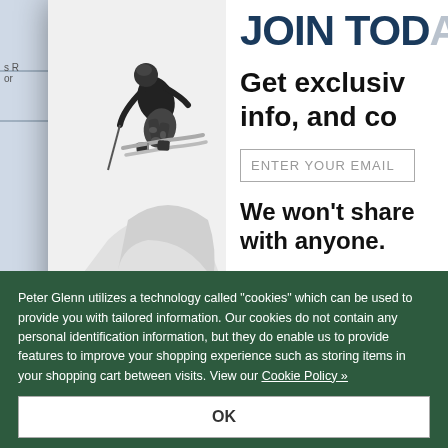[Figure (screenshot): Background of a website (partially visible) with a map/navigation interface on the left side and faint text content]
[Figure (photo): Black and white photo of a skier performing a trick/jump in the air against a white snowy background]
JOIN TODAY
Get exclusive info, and co
ENTER YOUR EMAIL
We won't share with anyone.
Peter Glenn utilizes a technology called "cookies" which can be used to provide you with tailored information. Our cookies do not contain any personal identification information, but they do enable us to provide features to improve your shopping experience such as storing items in your shopping cart between visits. View our Cookie Policy »
OK